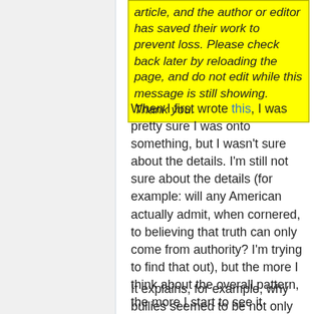article, and the author or editor has saved their work to prevent loss. Please check back later by reloading the page, and do not edit while this message is still showing. Thank you.
When I first wrote this, I was pretty sure I was onto something, but I wasn't sure about the details. I'm still not sure about the details (for example: will any American actually admit, when cornered, to believing that truth can only come from authority? I'm trying to find that out), but the more I think about the overall pattern, the more I start to see it shaping people's behaviors – both in the news and in my personal direct experience.
It explains, for example, why bullies seemed to be not only tolerated but almost ably encouraged at the